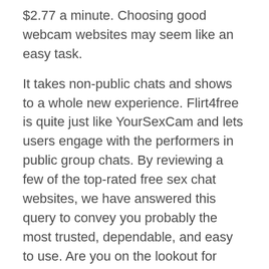$2.77 a minute. Choosing good webcam websites may seem like an easy task.
It takes non-public chats and shows to a whole new experience. Flirt4free is quite just like YourSexCam and lets users engage with the performers in public group chats. By reviewing a few of the top-rated free sex chat websites, we have answered this query to convey you probably the most trusted, dependable, and easy to use. Are you on the lookout for some on-screen action with a webcam model? TrueUnicorns is amongst the best locations to find live adult cam shows. The site is easy to navigate and has tons of categories to filter your choice. Looking for the most popular shows from professionals or amateurs?
This can also be a site that sadly caters solely to the male gaze. In other words, there isn't any real gender variety until you head over to their couples part. However, every thing, together with the lesbian